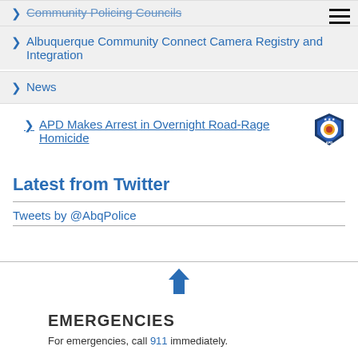Community Policing Councils
Albuquerque Community Connect Camera Registry and Integration
News
APD Makes Arrest in Overnight Road-Rage Homicide
Latest from Twitter
Tweets by @AbqPolice
[Figure (illustration): Back to top arrow icon (upward arrow)]
EMERGENCIES
For emergencies, call 911 immediately.